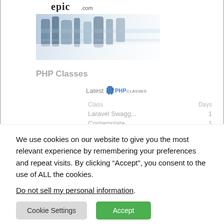[Figure (logo): epic.com logo text at top]
[Figure (photo): Blurred crowd/people motion blur hero image in blue tones]
PHP Classes
Latest [PHP Classes logo]
| Class | Days |
| --- | --- |
| Laravel Swagg... | 1 |
| Contemplate | 1 |
| Laravel Swagg... NEW | 1 |
| PHP Solid Pri... | 2 |
We use cookies on our website to give you the most relevant experience by remembering your preferences and repeat visits. By clicking “Accept”, you consent to the use of ALL the cookies.
Do not sell my personal information.
Cookie Settings   Accept